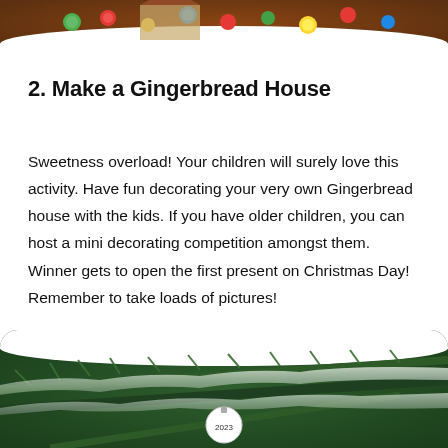[Figure (photo): Partial view of a gingerbread house decorating scene with colorful candies and decorations, cropped at the bottom of the top portion of the page.]
2. Make a Gingerbread House
Sweetness overload! Your children will surely love this activity. Have fun decorating your very own Gingerbread house with the kids. If you have older children, you can host a mini decorating competition amongst them. Winner gets to open the first present on Christmas Day! Remember to take loads of pictures!
[Figure (photo): Close-up photo of snow-covered pine tree branches with a white Christmas ornament ball hanging among the branches.]